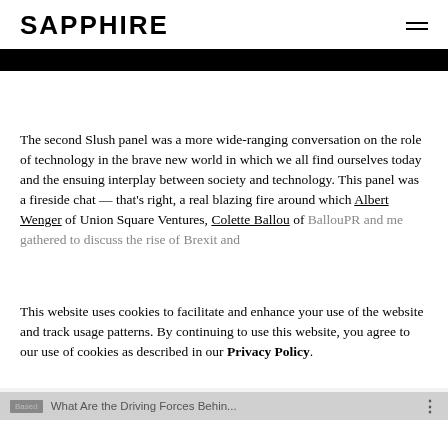SAPPHIRE
[Figure (photo): Black bar image banner at top of article]
The second Slush panel was a more wide-ranging conversation on the role of technology in the brave new world in which we all find ourselves today and the ensuing interplay between society and technology. This panel was a fireside chat — that's right, a real blazing fire around which Albert Wenger of Union Square Ventures, Colette Ballou of BallouPR and me gathered to discuss the rise of Brexit and...
This website uses cookies to facilitate and enhance your use of the website and track usage patterns. By continuing to use this website, you agree to our use of cookies as described in our Privacy Policy.
ACCEPT COOKIES
Based  What Are the Driving Forces Behin...